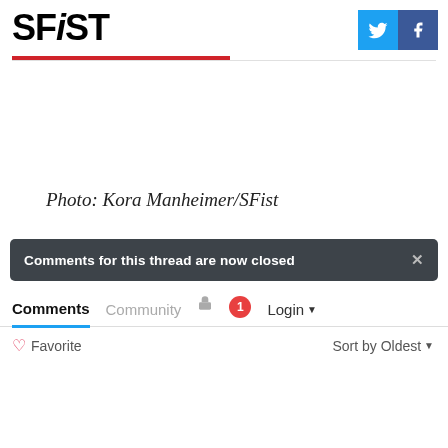SFiST
Photo: Kora Manheimer/SFist
Comments for this thread are now closed
Comments   Community   Login
♡ Favorite   Sort by Oldest